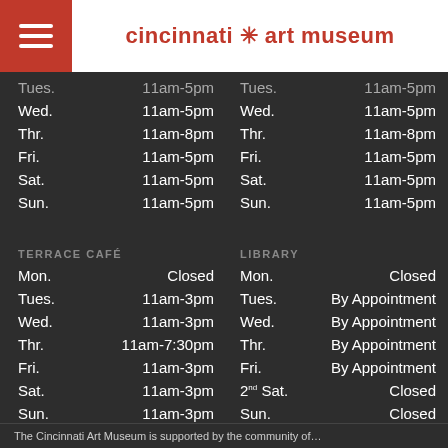cincinnati ✳ art museum
| Day | Hours |
| --- | --- |
| Tues. | 11am-5pm |
| Wed. | 11am-5pm |
| Thr. | 11am-8pm |
| Fri. | 11am-5pm |
| Sat. | 11am-5pm |
| Sun. | 11am-5pm |
| Day | Hours |
| --- | --- |
| Tues. | 11am-5pm |
| Wed. | 11am-5pm |
| Thr. | 11am-8pm |
| Fri. | 11am-5pm |
| Sat. | 11am-5pm |
| Sun. | 11am-5pm |
TERRACE CAFÉ
| Day | Hours |
| --- | --- |
| Mon. | Closed |
| Tues. | 11am-3pm |
| Wed. | 11am-3pm |
| Thr. | 11am-7:30pm |
| Fri. | 11am-3pm |
| Sat. | 11am-3pm |
| Sun. | 11am-3pm |
LIBRARY
| Day | Hours |
| --- | --- |
| Mon. | Closed |
| Tues. | By Appointment |
| Wed. | By Appointment |
| Thr. | By Appointment |
| Fri. | By Appointment |
| 2nd Sat. | Closed |
| Sun. | Closed |
The Cincinnati Art Museum is supported by the community of...